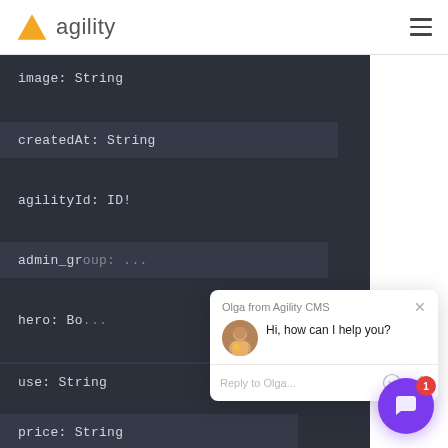agility
[Figure (screenshot): Dark code editor panel showing GraphQL schema fields: image: String, createdAt: String, agilityId: ID!, admin_gr..., hero: Bo..., type: St..., use: String, price: String]
[Figure (screenshot): Chat popup from Olga from Agility CMS saying 'Hi, how can I help you?' with a reply input field, emoji and attachment icons, and a purple chat trigger button with badge showing 1]